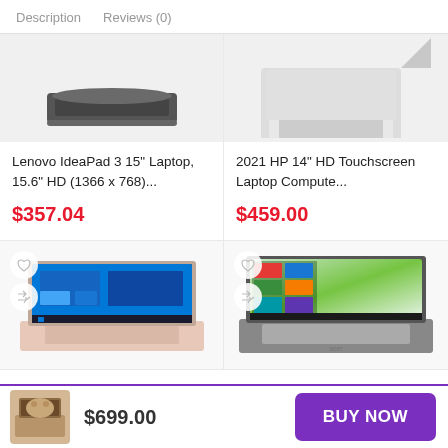Description   Reviews (0)
[Figure (photo): Lenovo IdeaPad 3 laptop top/closed view, dark gray]
Lenovo IdeaPad 3 15″ Laptop, 15.6″ HD (1366 x 768)...
$357.04
[Figure (photo): HP 14 inch laptop partially open, white/silver color]
2021 HP 14″ HD Touchscreen Laptop Compute...
$459.00
[Figure (photo): HP laptop open showing Windows 10 desktop, pink/gold color]
[Figure (photo): Acer laptop open showing Windows 10 desktop with green wallpaper]
[Figure (photo): Small laptop thumbnail image in sticky bar]
$699.00
BUY NOW